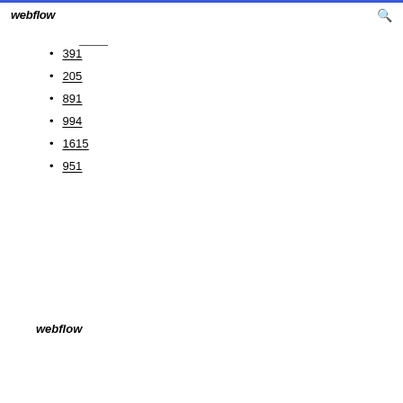webflow
391
205
891
994
1615
951
webflow